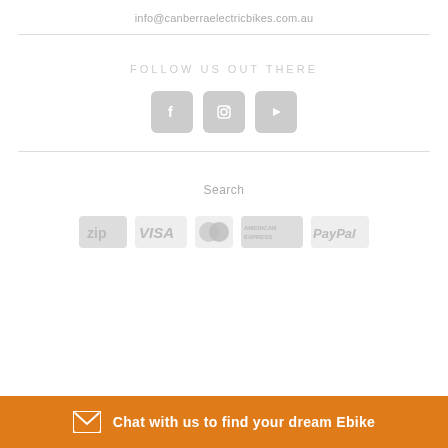info@canberraelectricbikes.com.au
FOLLOW US OUT THERE
[Figure (illustration): Social media icons: Facebook, Instagram, YouTube — all in grey rounded square buttons]
Search
[Figure (logo): Payment method logos: Zip, Visa, Mastercard, American Express, PayPal — all greyed out]
Chat with us to find your dream Ebike